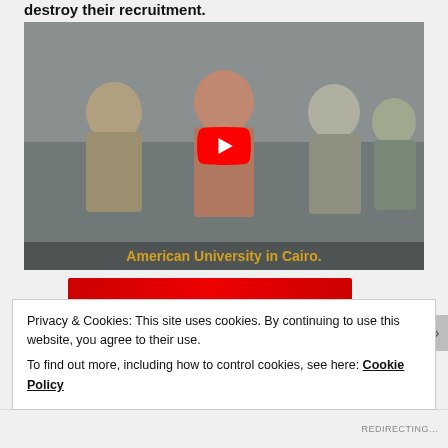destroy their recruitment.
[Figure (screenshot): YouTube video thumbnail showing BBC In Iraq with armed/masked figures and a female reporter. Text overlay reads 'American University in Cairo.' YouTube play button visible in center.]
[Figure (screenshot): Partial red banner/advertisement below the video thumbnail.]
Privacy & Cookies: This site uses cookies. By continuing to use this website, you agree to their use.
To find out more, including how to control cookies, see here: Cookie Policy
Close and accept